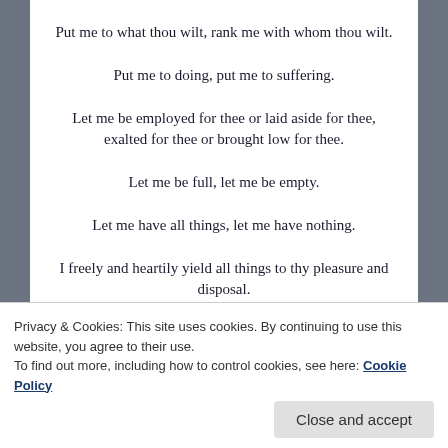Put me to what thou wilt, rank me with whom thou wilt.
Put me to doing, put me to suffering.
Let me be employed for thee or laid aside for thee, exalted for thee or brought low for thee.
Let me be full, let me be empty.
Let me have all things, let me have nothing.
I freely and heartily yield all things to thy pleasure and disposal.
Privacy & Cookies: This site uses cookies. By continuing to use this website, you agree to their use. To find out more, including how to control cookies, see here: Cookie Policy